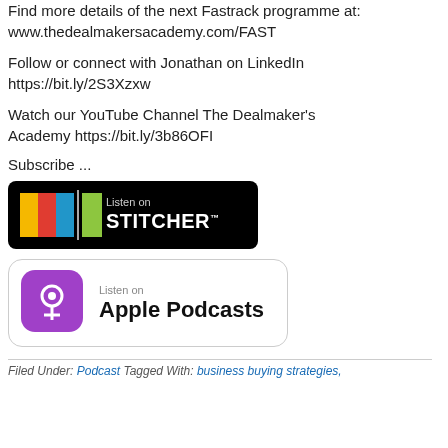Find more details of the next Fastrack programme at: www.thedealmakersacademy.com/FAST
Follow or connect with Jonathan on LinkedIn https://bit.ly/2S3Xzxw
Watch our YouTube Channel The Dealmaker's Academy https://bit.ly/3b86OFI
Subscribe ...
[Figure (logo): Listen on Stitcher badge - black rounded rectangle with coloured blocks (yellow, red, blue, green) and white text 'Listen on STITCHER']
[Figure (logo): Listen on Apple Podcasts badge - white rounded rectangle with purple podcast icon and text 'Listen on Apple Podcasts']
Filed Under: Podcast Tagged With: business buying strategies,